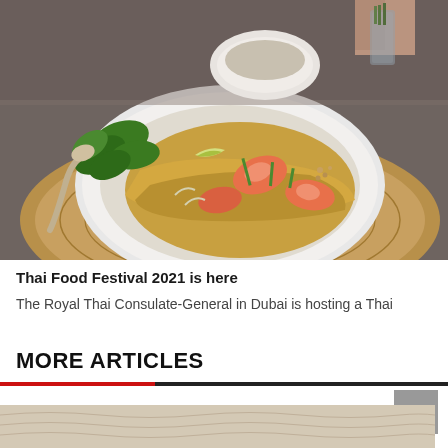[Figure (photo): A plate of Pad Thai with shrimp, noodles, herbs and vegetables on a woven placemat, with a spoon beside it and herbs being held above by a hand in the background]
Thai Food Festival 2021 is here
The Royal Thai Consulate-General in Dubai is hosting a Thai
MORE ARTICLES
[Figure (photo): Partial view of a sandy/beige patterned background image at the bottom of the page]